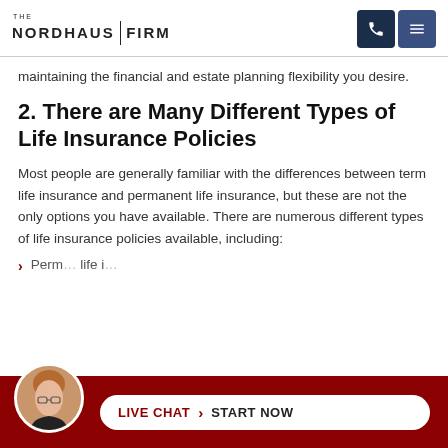THE NORDHAUS FIRM
maintaining the financial and estate planning flexibility you desire.
2. There are Many Different Types of Life Insurance Policies
Most people are generally familiar with the differences between term life insurance and permanent life insurance, but these are not the only options you have available. There are numerous different types of life insurance policies available, including:
Permanent life i…